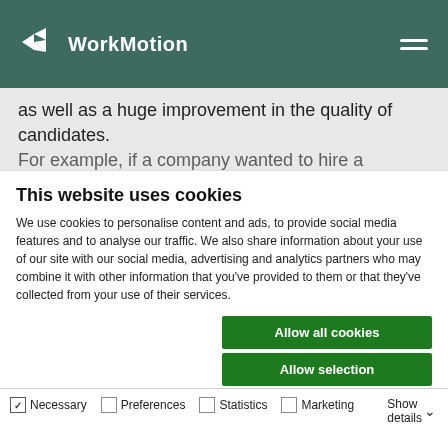WorkMotion
as well as a huge improvement in the quality of candidates.
For example, if a company wanted to hire a developer
This website uses cookies
We use cookies to personalise content and ads, to provide social media features and to analyse our traffic. We also share information about your use of our site with our social media, advertising and analytics partners who may combine it with other information that you've provided to them or that they've collected from your use of their services.
Allow all cookies
Allow selection
Use necessary cookies only
Necessary  Preferences  Statistics  Marketing  Show details